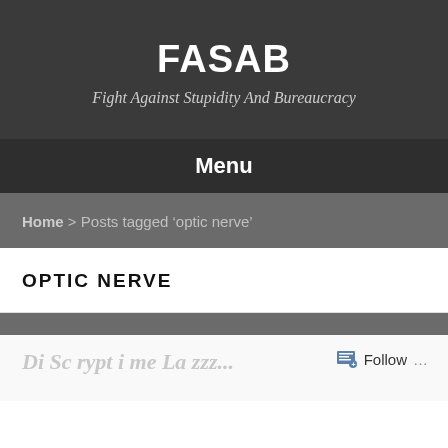FASAB
Fight Against Stupidity And Bureaucracy
Menu
Home > Posts tagged 'optic nerve'
OPTIC NERVE
Follow ...